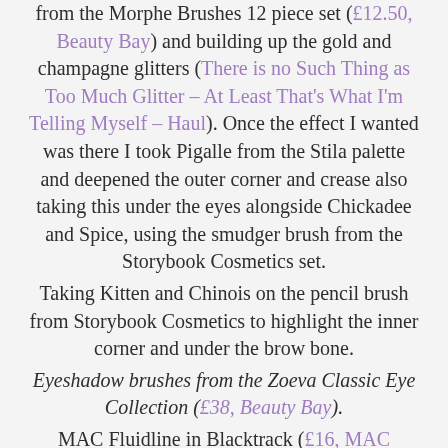from the Morphe Brushes 12 piece set (£12.50, Beauty Bay) and building up the gold and champagne glitters (There is no Such Thing as Too Much Glitter – At Least That's What I'm Telling Myself – Haul). Once the effect I wanted was there I took Pigalle from the Stila palette and deepened the outer corner and crease also taking this under the eyes alongside Chickadee and Spice, using the smudger brush from the Storybook Cosmetics set. Taking Kitten and Chinois on the pencil brush from Storybook Cosmetics to highlight the inner corner and under the brow bone. Eyeshadow brushes from the Zoeva Classic Eye Collection (£38, Beauty Bay). MAC Fluidline in Blacktrack (£16, MAC Cosmetics) to create a winged liner and lower water line. Velour Doll Me Up Lashes (£23, Beauty Bay)